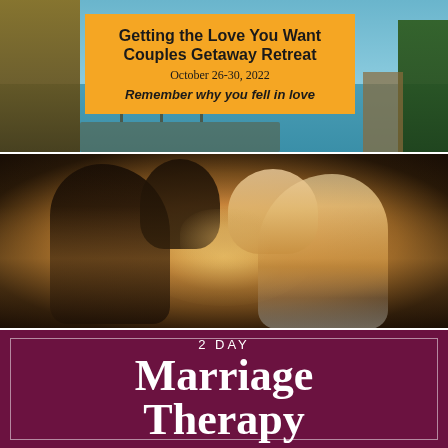[Figure (photo): Beach/tropical resort scene with thatched-roof huts, turquoise water, dock, and palm trees. An orange overlay box contains event title text.]
Getting the Love You Want Couples Getaway Retreat
October 26-30, 2022
Remember why you fell in love
[Figure (photo): Close-up photo of a couple facing each other with foreheads nearly touching, backlit with warm golden light. Woman is smiling, man is in dark suit.]
2 DAY Marriage Therapy